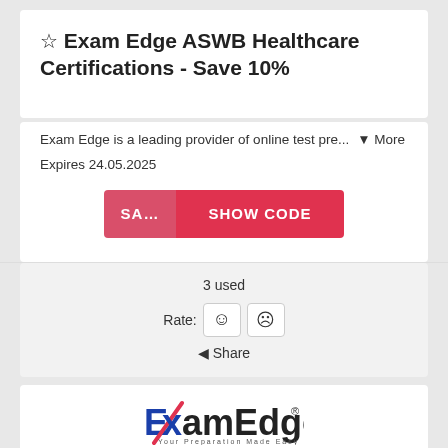☆ Exam Edge ASWB Healthcare Certifications - Save 10%
Exam Edge is a leading provider of online test pre...  ▾ More
Expires 24.05.2025
[Figure (other): Red coupon button with two sections: left shows 'SA...' and right shows 'SHOW CODE']
3 used
Rate: ☺ ☹
◄ Share
[Figure (logo): ExamEdge logo with red checkmark through the 'Ex', blue and red text reading 'ExamEdge', registered trademark symbol, tagline 'Your Preparation Made Easy']
Exam Edge